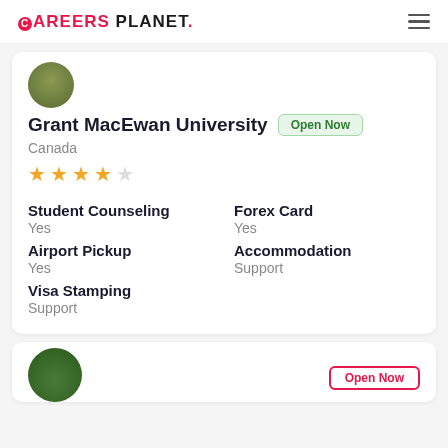CAREERS PLANET.
Grant MacEwan University
Open Now
Canada
★★★★☆ (4 stars)
Student Counseling
Yes
Forex Card
Yes
Airport Pickup
Yes
Accommodation
Support
Visa Stamping
Support